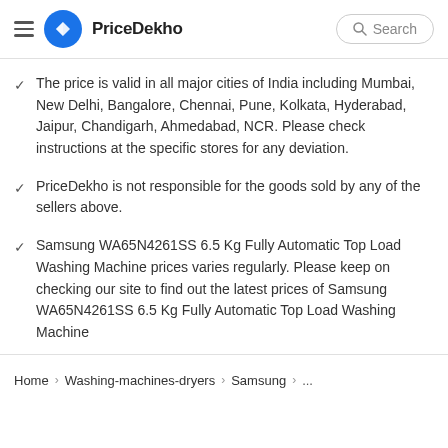PriceDekho — Search
The price is valid in all major cities of India including Mumbai, New Delhi, Bangalore, Chennai, Pune, Kolkata, Hyderabad, Jaipur, Chandigarh, Ahmedabad, NCR. Please check instructions at the specific stores for any deviation.
PriceDekho is not responsible for the goods sold by any of the sellers above.
Samsung WA65N4261SS 6.5 Kg Fully Automatic Top Load Washing Machine prices varies regularly. Please keep on checking our site to find out the latest prices of Samsung WA65N4261SS 6.5 Kg Fully Automatic Top Load Washing Machine
Home > Washing-machines-dryers > Samsung > ...